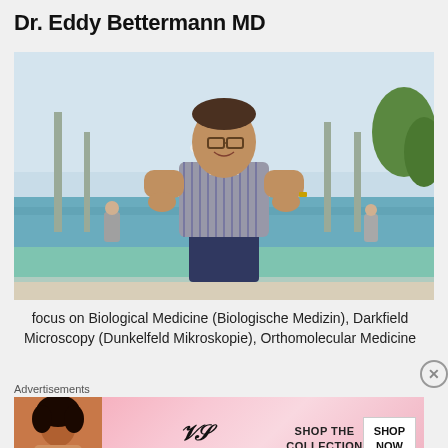Dr. Eddy Bettermann MD
[Figure (photo): Photo of Dr. Eddy Bettermann MD standing by an infinity pool, smiling, wearing a striped polo shirt and navy shorts, with people and tropical greenery in the background.]
focus on Biological Medicine (Biologische Medizin), Darkfield Microscopy (Dunkelfeld Mikroskopie), Orthomolecular Medicine
Advertisements
[Figure (other): Victoria's Secret advertisement banner: 'SHOP THE COLLECTION' with SHOP NOW button, pink background with model on the left.]